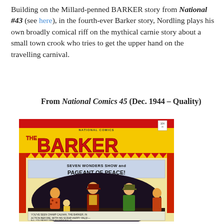Building on the Millard-penned BARKER story from National #43 (see here), in the fourth-ever Barker story, Nordling plays his own broadly comical riff on the mythical carnie story about a small town crook who tries to get the upper hand on the travelling carnival.
From National Comics 45 (Dec. 1944 – Quality)
[Figure (illustration): Cover of National Comics issue 45, featuring 'The Barker' title in large red letters on a yellow background with red curtain. Below a banner reading 'Seven Wonders Show and Pageant of Peace!' shows a fight scene with carnival characters in a dark oval setting. Bottom caption text references Champ Calnan, The Barker.]